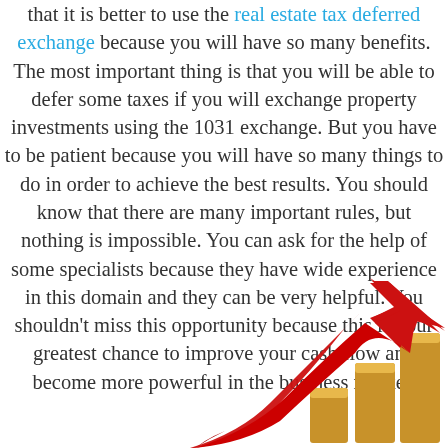that it is better to use the real estate tax deferred exchange because you will have so many benefits. The most important thing is that you will be able to defer some taxes if you will exchange property investments using the 1031 exchange. But you have to be patient because you will have so many things to do in order to achieve the best results. You should know that there are many important rules, but nothing is impossible. You can ask for the help of some specialists because they have wide experience in this domain and they can be very helpful. You shouldn't miss this opportunity because this is your greatest chance to improve your cash flow and become more powerful in the business market.
[Figure (illustration): A red upward-pointing arrow with gold/yellow bar chart elements in the lower right, suggesting financial growth. Partially cropped at the bottom of the page.]